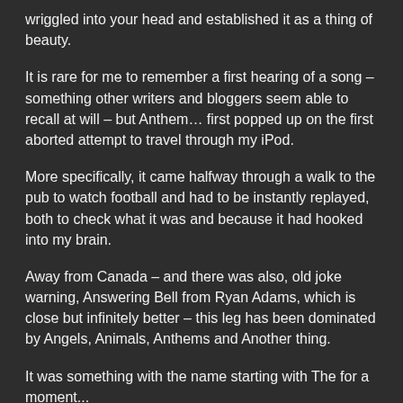wriggled into your head and established it as a thing of beauty.
It is rare for me to remember a first hearing of a song – something other writers and bloggers seem able to recall at will – but Anthem… first popped up on the first aborted attempt to travel through my iPod.
More specifically, it came halfway through a walk to the pub to watch football and had to be instantly replayed, both to check what it was and because it had hooked into my brain.
Away from Canada – and there was also, old joke warning, Answering Bell from Ryan Adams, which is close but infinitely better – this leg has been dominated by Angels, Animals, Anthems and Another thing.
It was something with the name starting with The for a moment...